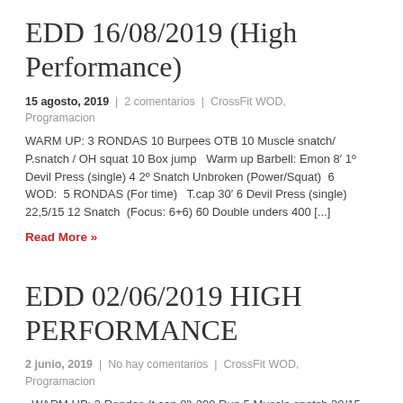EDD 16/08/2019 (High Performance)
15 agosto, 2019 | 2 comentarios | CrossFit WOD, Programacion
WARM UP: 3 RONDAS 10 Burpees OTB 10 Muscle snatch/ P.snatch / OH squat 10 Box jump  Warm up Barbell: Emon 8′ 1º Devil Press (single) 4 2º Snatch Unbroken (Power/Squat)  6 WOD:  5 RONDAS (For time)  T.cap 30′ 6 Devil Press (single) 22,5/15 12 Snatch  (Focus: 6+6) 60 Double unders 400 [...]
Read More »
EDD 02/06/2019 HIGH PERFORMANCE
2 junio, 2019 | No hay comentarios | CrossFit WOD, Programacion
WARM UP: 3 Rondas (t.cap 8′) 200 Run 5 Muscle snatch 20/15-